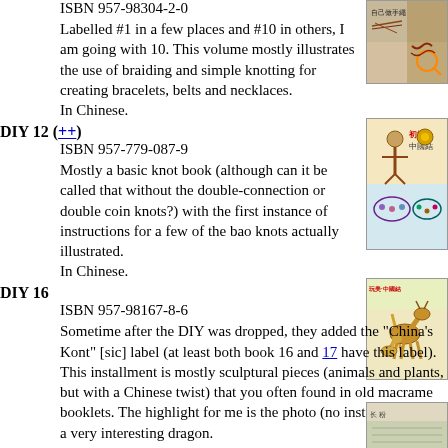ISBN 957-98304-2-0
Labelled #1 in a few places and #10 in others, I am going with 10. This volume mostly illustrates the use of braiding and simple knotting for creating bracelets, belts and necklaces.
In Chinese.
[Figure (photo): Book cover thumbnail for DIY knot book, showing braided cord crafts]
DIY 12 (++)
ISBN 957-779-087-9
Mostly a basic knot book (although can it be called that without the double-connection or double coin knots?) with the first instance of instructions for a few of the bao knots actually illustrated.
In Chinese.
[Figure (photo): Book cover thumbnail for DIY 12 knot book, showing Chinese knotting figures and jewelry]
DIY 16
ISBN 957-98167-8-6
Sometime after the DIY was dropped, they added the "China's Kont" [sic] label (at least both book 16 and 17 have this label). This installment is mostly sculptural pieces (animals and plants, but with a Chinese twist) that you often found in old macrame booklets. The highlight for me is the photo (no instructions!) of a very interesting dragon.
In Chinese.
[Figure (photo): Book cover thumbnail for DIY 16, showing decorative deer/giraffe sculptures made from knotting]
DIY 17
[Figure (photo): Book cover thumbnail for DIY 17]